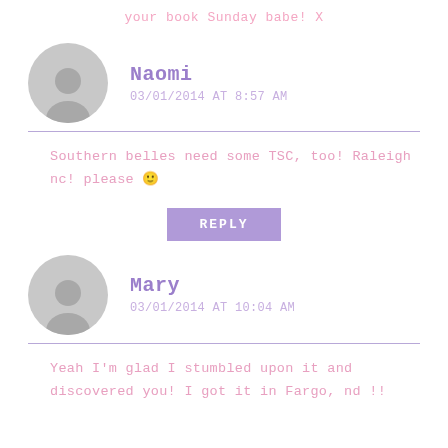your book Sunday babe! X
Naomi
03/01/2014 AT 8:57 AM
Southern belles need some TSC, too! Raleigh nc! please 🙂
REPLY
Mary
03/01/2014 AT 10:04 AM
Yeah I'm glad I stumbled upon it and discovered you! I got it in Fargo, nd !!